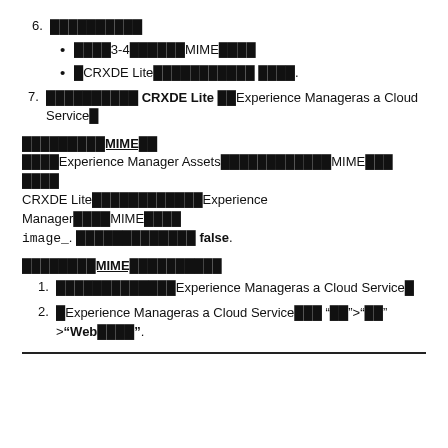6.
• 　　　3-4　　　　MIME
• 　CRXDE Lite　　　　　　　　　　 　　　　.
7. 　　　　　　　　　 CRXDE Lite 　　Experience Manageras a Cloud Service
MIME
Experience Manager Assets　　　　　　　　　　　MIME　　　 　　　　 CRXDE Lite　　　　　　　　　　　Experience Manager　　　　MIME　　　　 image_. 　　　　　　　　　　　 false.
MIME
1. 　　　　　　　　　　　　Experience Manageras a Cloud Service
2. 　Experience Manageras a Cloud Service　　　 "　　">"　　" >"Web　　　　".